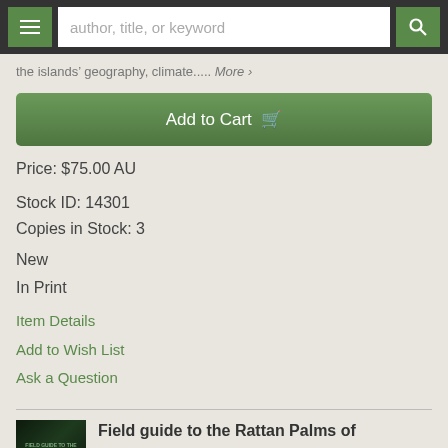author, title, or keyword
the islands' geography, climate..... More >
Add to Cart
Price: $75.00 AU
Stock ID: 14301
Copies in Stock: 3
New
In Print
Item Details
Add to Wish List
Ask a Question
Field guide to the Rattan Palms of